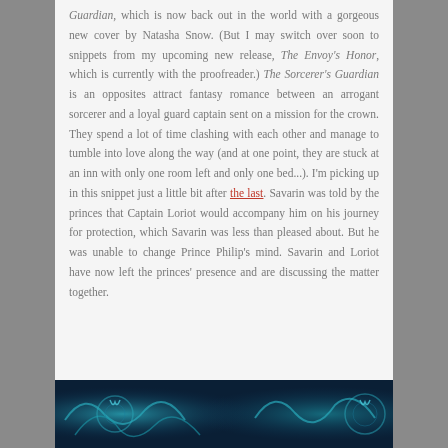Guardian, which is now back out in the world with a gorgeous new cover by Natasha Snow. (But I may switch over soon to snippets from my upcoming new release, The Envoy's Honor, which is currently with the proofreader.) The Sorcerer's Guardian is an opposites attract fantasy romance between an arrogant sorcerer and a loyal guard captain sent on a mission for the crown. They spend a lot of time clashing with each other and manage to tumble into love along the way (and at one point, they are stuck at an inn with only one room left and only one bed...). I'm picking up in this snippet just a little bit after the last. Savarin was told by the princes that Captain Loriot would accompany him on his journey for protection, which Savarin was less than pleased about. But he was unable to change Prince Philip's mind. Savarin and Loriot have now left the princes' presence and are discussing the matter together.
[Figure (photo): Decorative fantasy book cover image with blue and teal swirling designs on dark background]